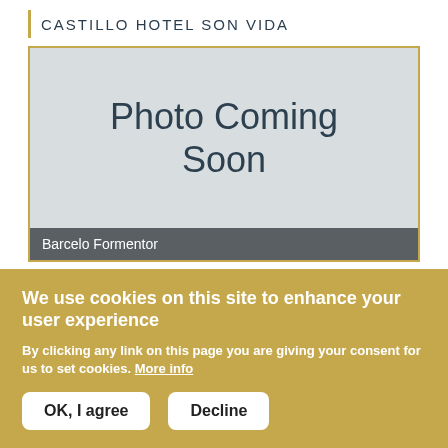CASTILLO HOTEL SON VIDA
[Figure (photo): Photo Coming Soon placeholder image with grey background]
Barcelo Formentor
[Figure (photo): Partial landscape photo showing mountains and sky]
We use cookies on this site to enhance your user experience
By clicking any link on this page you are giving your consent for us to set cookies. More info
OK, I agree
Decline